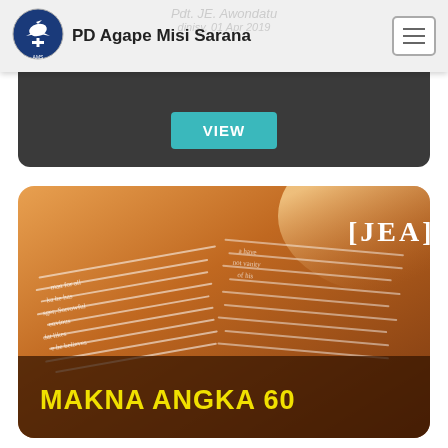PD Agape Misi Sarana
Pdt. JE. Awondatu
dinisy, 01 Apr 2019
VIEW
[Figure (photo): Open Bible book pages with warm golden light, showing English text on pages. In upper right corner: [JEA] in white bold serif font. Bottom overlay shows yellow bold text: MAKNA ANGKA 60]
MAKNA ANGKA 60